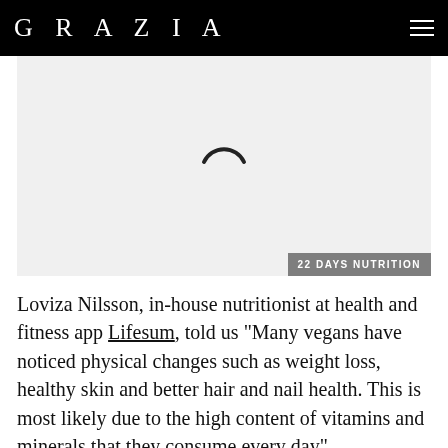GRAZIA
[Figure (screenshot): Loading spinner arc on light grey background with '22 DAYS NUTRITION' label overlay at bottom right]
Loviza Nilsson, in-house nutritionist at health and fitness app Lifesum, told us "Many vegans have noticed physical changes such as weight loss, healthy skin and better hair and nail health. This is most likely due to the high content of vitamins and minerals that they consume every day".